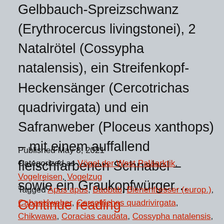Gelbbauch-Spreizschwanz (Erythrocercus livingstonei), 2 Natalrötel (Cossypha natalensis), ein Streifenkopf-Heckensänger (Cercotrichas quadrivirgata) und ein Safranweber (Ploceus xanthops) – mit einem auffallend fleischfarbenen Schnabel – sowie ein Graukopfwürger… Continue reading
Published May 8, 2021
Categorized as Vögel der West Paläarktik, Vogelreisen, Vogelzug
Tagged Apus apus, Baobab, Bienenfresser (europ.), Cabanisweber, Cercotrichas quadrivirgata, Chikwawa, Coracias caudata, Cossypha natalensis, Dicrurus adsimilis, Erythrocercus livingstonei, ESCOM Power...